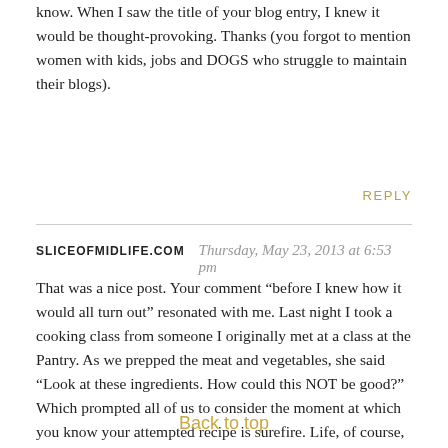know. When I saw the title of your blog entry, I knew it would be thought-provoking. Thanks (you forgot to mention women with kids, jobs and DOGS who struggle to maintain their blogs).
REPLY
SLICEOFMIDLIFE.COM   Thursday, May 23, 2013 at 6:53 pm
That was a nice post. Your comment “before I knew how it would all turn out” resonated with me. Last night I took a cooking class from someone I originally met at a class at the Pantry. As we prepped the meat and vegetables, she said “Look at these ingredients. How could this NOT be good?” Which prompted all of us to consider the moment at which you know your attempted recipe is surefire. Life, of course, isn't often like that, but once in a while you just
Back to top